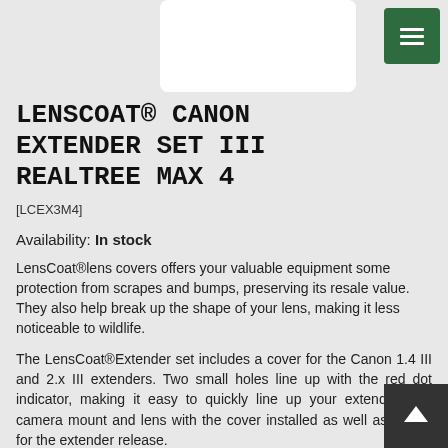[Figure (photo): Product image placeholder - white rectangle]
LENSCOAT® CANON EXTENDER SET III REALTREE MAX 4
[LCEX3M4]
Availability: In stock
LensCoat®lens covers offers your valuable equipment some protection from scrapes and bumps, preserving its resale value. They also help break up the shape of your lens, making it less noticeable to wildlife.
The LensCoat®Extender set includes a cover for the Canon 1.4 III and 2.x III extenders. Two small holes line up with the red dot indicator, making it easy to quickly line up your extender with camera mount and lens with the cover installed as well as a hole for the extender release.
$26.99
Select Quantity